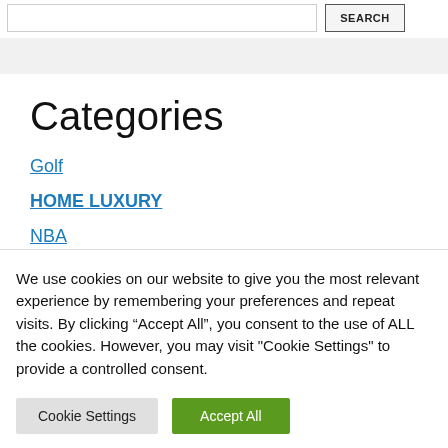Search button
Categories
Golf
HOME LUXURY
NBA
We use cookies on our website to give you the most relevant experience by remembering your preferences and repeat visits. By clicking “Accept All”, you consent to the use of ALL the cookies. However, you may visit "Cookie Settings" to provide a controlled consent.
Cookie Settings | Accept All